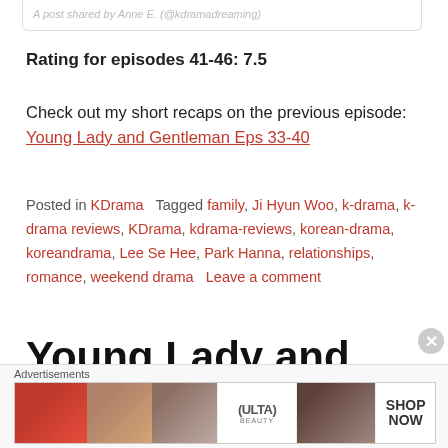A post shared by Anne E. (@kdramadreaming)
Rating for episodes 41-46: 7.5
Check out my short recaps on the previous episode: Young Lady and Gentleman Eps 33-40
Posted in KDrama   Tagged family, Ji Hyun Woo, k-drama, k-drama reviews, KDrama, kdrama-reviews, korean-drama, koreandrama, Lee Se Hee, Park Hanna, relationships, romance, weekend drama   Leave a comment
Young Lady and Gentleman
[Figure (other): Ulta Beauty advertisement banner with makeup images]
Advertisements